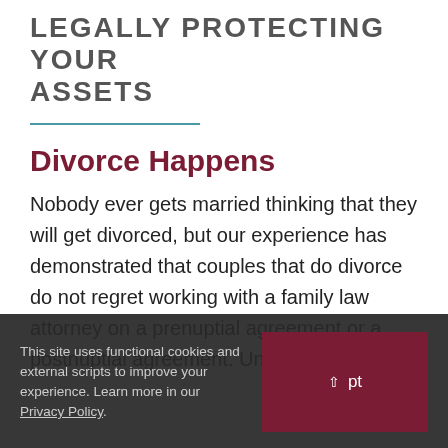LEGALLY PROTECTING YOUR ASSETS
Divorce Happens
Nobody ever gets married thinking that they will get divorced, but our experience has demonstrated that couples that do divorce do not regret working with a family law attorney on a prenuptial agreement or a postnuptial agreement. Understanding
This site uses functional cookies and external scripts to improve your experience. Learn more in our Privacy Policy.